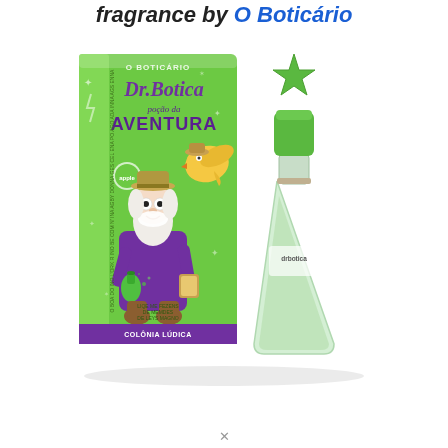fragrance by O Boticário
[Figure (photo): Product photo of Dr. Botica 'Poção da Aventura' fragrance by O Boticário. Shows a green box with purple cartoon character (elderly professor) and yellow bird, with the bottle beside it — a clear conical/triangular glass bottle with a green cap topped by a green star shape.]